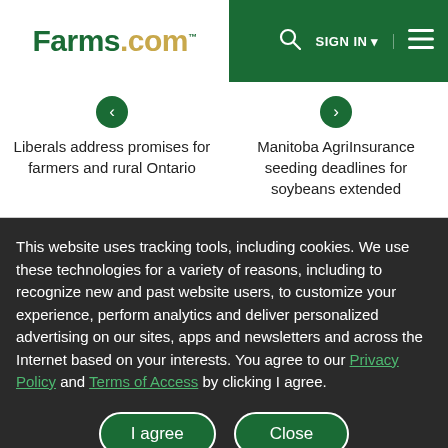Farms.com — SIGN IN
Liberals address promises for farmers and rural Ontario
Manitoba AgriInsurance seeding deadlines for soybeans extended
This website uses tracking tools, including cookies. We use these technologies for a variety of reasons, including to recognize new and past website users, to customize your experience, perform analytics and deliver personalized advertising on our sites, apps and newsletters and across the Internet based on your interests. You agree to our Privacy Policy and Terms of Access by clicking I agree.
I agree | Close